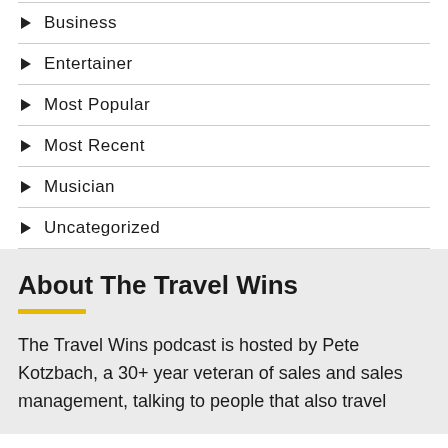Business
Entertainer
Most Popular
Most Recent
Musician
Uncategorized
About The Travel Wins
The Travel Wins podcast is hosted by Pete Kotzbach, a 30+ year veteran of sales and sales management, talking to people that also travel